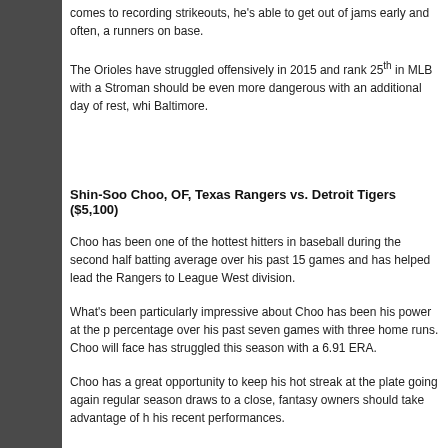comes to recording strikeouts, he's able to get out of jams early and often, a runners on base.
The Orioles have struggled offensively in 2015 and rank 25th in MLB with a Stroman should be even more dangerous with an additional day of rest, whi Baltimore.
Shin-Soo Choo, OF, Texas Rangers vs. Detroit Tigers ($5,100)
Choo has been one of the hottest hitters in baseball during the second half batting average over his past 15 games and has helped lead the Rangers to League West division.
What's been particularly impressive about Choo has been his power at the p percentage over his past seven games with three home runs. Choo will face has struggled this season with a 6.91 ERA.
Choo has a great opportunity to keep his hot streak at the plate going again regular season draws to a close, fantasy owners should take advantage of h his recent performances.
Kris Bryant, 3B, Chicago Cubs vs. Cincinnati Reds ($4,900)